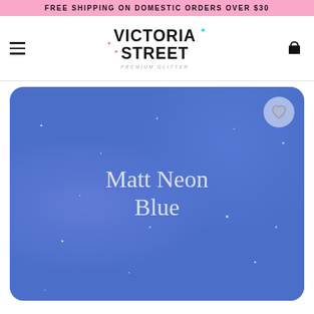FREE SHIPPING ON DOMESTIC ORDERS OVER $30
[Figure (logo): Victoria Street Premium Glitter logo with sparkle decorations]
[Figure (photo): Product photo of Matt Neon Blue glitter material with wishlist heart button in top right corner]